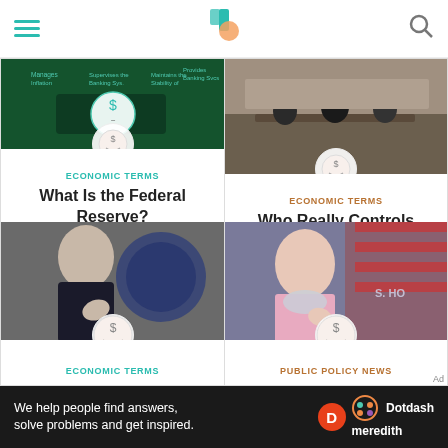Investopedia mobile app header with hamburger menu, logo, and search icon
[Figure (screenshot): Article card: Economic Terms infographic thumbnail for What Is the Federal Reserve?]
ECONOMIC TERMS
What Is the Federal Reserve?
[Figure (photo): Article card: meeting room photo for Who Really Controls the Fed?]
ECONOMIC TERMS
Who Really Controls the Fed?
[Figure (photo): Article card: Jerome Powell photo for FOMC: What It Is]
ECONOMIC TERMS
FOMC: What It Is,
[Figure (photo): Article card: Nancy Pelosi photo for Democrats' $3.5]
PUBLIC POLICY NEWS
Democrats' $3.5
We help people find answers, solve problems and get inspired. Dotdash meredith